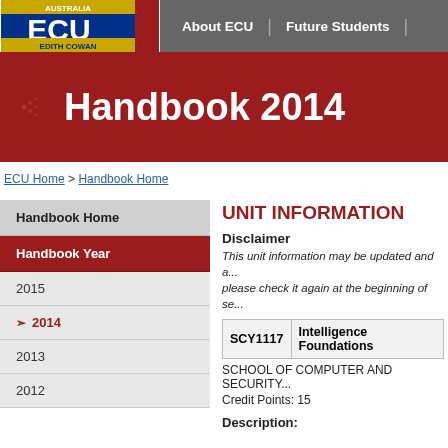[Figure (logo): ECU Edith Cowan University logo with gold and blue design, text AUSTRALIA, ECU, EDITH COWAN, UNIVERSITY]
About ECU | Future Students
Handbook 2014
ECU Home > Handbook Home
Handbook Home
Handbook Year
2015
2014
2013
2012
UNIT INFORMATION
Disclaimer
This unit information may be updated and a... please check it again at the beginning of se...
| SCY1117 | Intelligence Foundations |
| --- | --- |
SCHOOL OF COMPUTER AND SECURITY...
Credit Points: 15
Description: